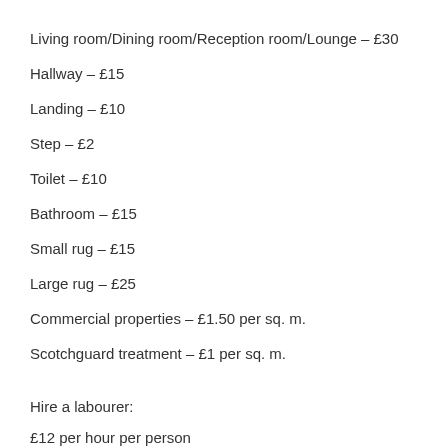Living room/Dining room/Reception room/Lounge – £30
Hallway – £15
Landing – £10
Step – £2
Toilet – £10
Bathroom – £15
Small rug – £15
Large rug – £25
Commercial properties – £1.50 per sq. m.
Scotchguard treatment – £1 per sq. m.
Hire a labourer:
£12 per hour per person
By telephone